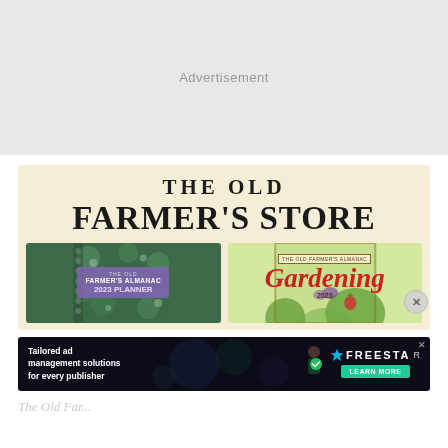[Figure (other): Gray advertisement placeholder area with 'Advertisement' text label]
[Figure (illustration): The Old Farmer's Store banner advertisement on cream/yellow background with bold serif text, featuring two product images: Farmer's Almanac 2023 Planner and Gardening 2023 book cover]
[Figure (illustration): Freestar ad management banner: 'Tailored ad management solutions for every publisher' with Learn More button and Freestar logo on dark background]
The Old Far...